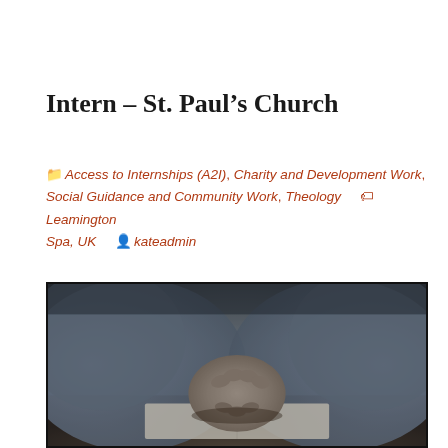Intern – St. Paul's Church
🗂 Access to Internships (A2I), Charity and Development Work, Social Guidance and Community Work, Theology 🏷 Leamington Spa, UK 👤 kateadmin
[Figure (photo): Overhead view of a person in a blue long-sleeve shirt with hands clasped together in a prayer position resting on an open book or Bible, on a dark wooden surface.]